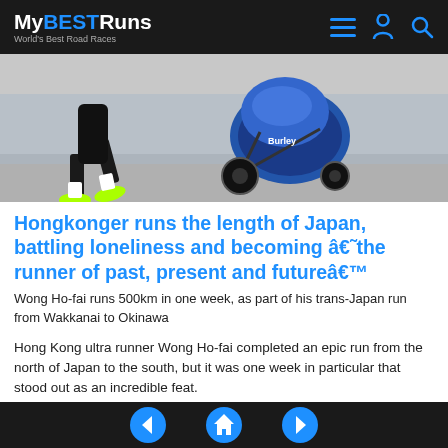MyBESTRuns – World's Best Road Races
[Figure (photo): A runner in black shorts and neon green shoes pulling a blue and black Burley jogging stroller across a paved surface, city background.]
Hongkonger runs the length of Japan, battling loneliness and becoming â€˜the runner of past, present and futureâ€™
Wong Ho-fai runs 500km in one week, as part of his trans-Japan run from Wakkanai to Okinawa
Hong Kong ultra runner Wong Ho-fai completed an epic run from the north of Japan to the south, but it was one week in particular that stood out as an incredible feat.
◀ 🏠 ▶